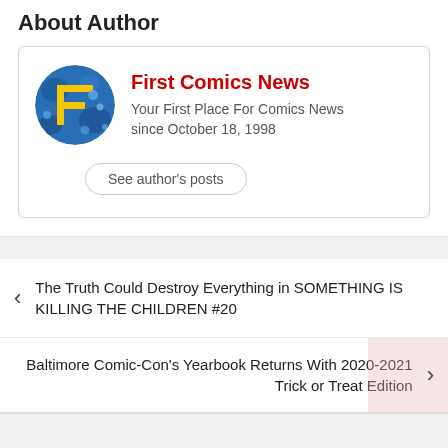About Author
[Figure (logo): First Comics News logo: circular icon with yellow letter F on blue background]
First Comics News
Your First Place For Comics News since October 18, 1998
See author's posts
The Truth Could Destroy Everything in SOMETHING IS KILLING THE CHILDREN #20
Baltimore Comic-Con's Yearbook Returns With 2020-2021 Trick or Treat Edition